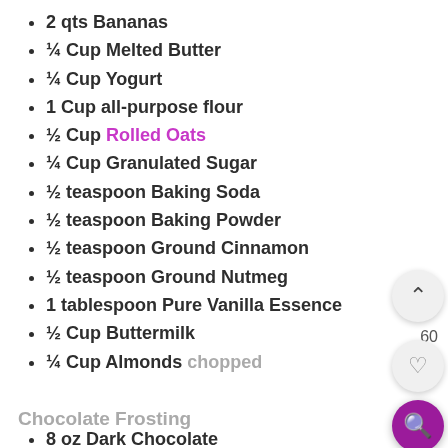2 qts Bananas
¼ Cup Melted Butter
¼ Cup Yogurt
1 Cup all-purpose flour
½ Cup Rolled Oats
¼ Cup Granulated Sugar
½ teaspoon Baking Soda
½ teaspoon Baking Powder
½ teaspoon Ground Cinnamon
½ teaspoon Ground Nutmeg
1 tablespoon Pure Vanilla Essence
½ Cup Buttermilk
¼ Cup Almonds chopped
Chocolate Frosting
8 oz Dark Chocolate